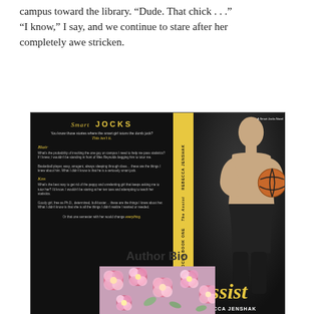campus toward the library. “Dude. That chick . . .” “I know,” I say, and we continue to stare after her completely awe stricken.
[Figure (photo): Book cover of 'The Assist' by Rebecca Jenshak. Smart Jocks series, Book One. Features a shirtless male athlete holding a basketball on a dark background with yellow spine and title in yellow script.]
Author Bio
[Figure (photo): Partial photo of pink flowers, likely the author's bio photo background.]